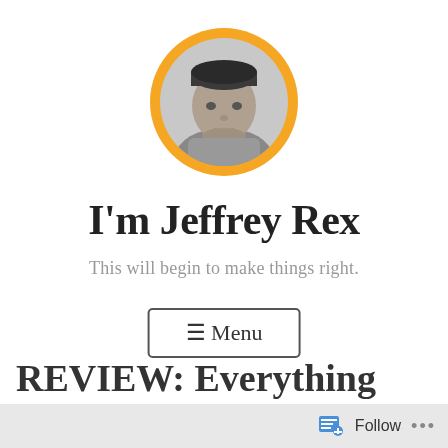[Figure (photo): Circular avatar photo of a man wearing a beanie hat, rendered in black and white, with an orange circular background behind it.]
I'm Jeffrey Rex
This will begin to make things right.
≡ Menu
REVIEW: Everything
Follow ...